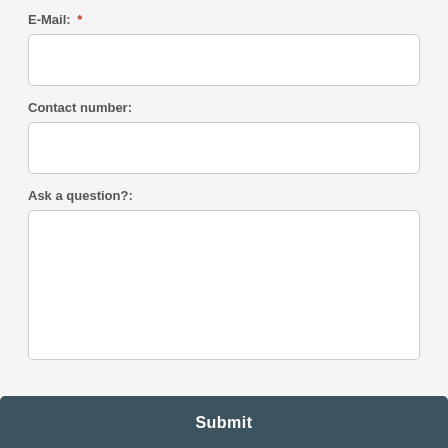E-Mail:  *
[Figure (other): Empty text input field for E-Mail]
Contact number:
[Figure (other): Empty text input field for Contact number]
Ask a question?:
[Figure (other): Empty large textarea for Ask a question]
Submit